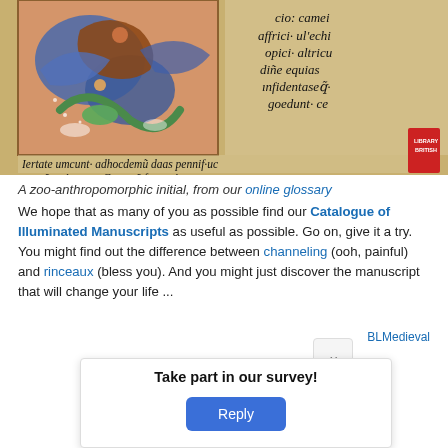[Figure (photo): A zoo-anthropomorphic initial from a medieval illuminated manuscript, showing a decorated letter with animal and human forms intertwined, with Latin text visible. British Library watermark in bottom-right corner.]
A zoo-anthropomorphic initial, from our online glossary
We hope that as many of you as possible find our Catalogue of Illuminated Manuscripts as useful as possible. Go on, give it a try. You might find out the difference between channeling (ooh, painful) and rinceaux (bless you). And you might just discover the manuscript that will change your life ...
[Figure (screenshot): A survey popup widget with chevron/collapse button and BLMedieval label, containing 'Take part in our survey!' title and a Reply button.]